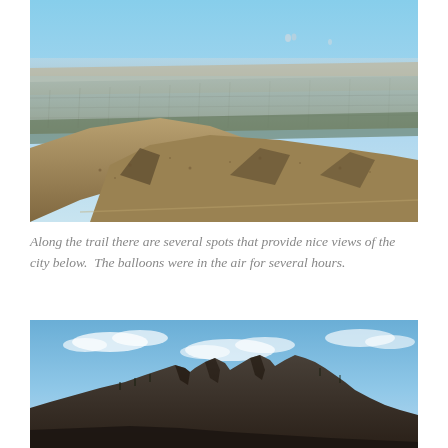[Figure (photo): Aerial view of a desert city and surrounding arid landscape with rocky scrubby hills in the foreground and a sprawling urban area extending to the horizon under a hazy blue sky. Hot air balloons are barely visible in the upper portion of the sky.]
Along the trail there are several spots that provide nice views of the city below.  The balloons were in the air for several hours.
[Figure (photo): Dramatic rocky mountain ridge with jagged peaks silhouetted against a partly cloudy blue sky. The foreground shows dark rocky terrain with sparse vegetation.]